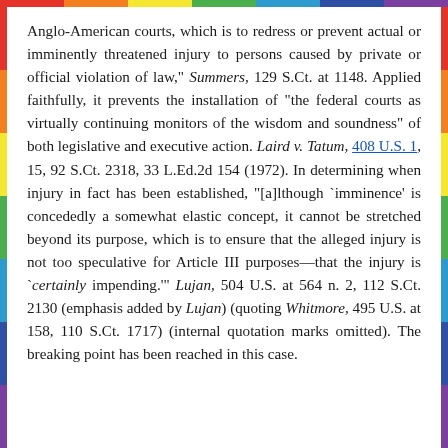Anglo-American courts, which is to redress or prevent actual or imminently threatened injury to persons caused by private or official violation of law," Summers, 129 S.Ct. at 1148. Applied faithfully, it prevents the installation of "the federal courts as virtually continuing monitors of the wisdom and soundness" of both legislative and executive action. Laird v. Tatum, 408 U.S. 1, 15, 92 S.Ct. 2318, 33 L.Ed.2d 154 (1972). In determining when injury in fact has been established, "[a]lthough `imminence' is concededly a somewhat elastic concept, it cannot be stretched beyond its purpose, which is to ensure that the alleged injury is not too speculative for Article III purposes—that the injury is `certainly impending.'" Lujan, 504 U.S. at 564 n. 2, 112 S.Ct. 2130 (emphasis added by Lujan) (quoting Whitmore, 495 U.S. at 158, 110 S.Ct. 1717) (internal quotation marks omitted). The breaking point has been reached in this case.